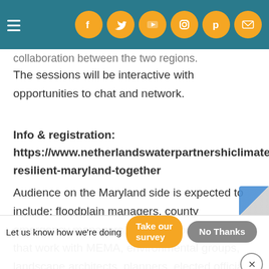Navigation bar with hamburger menu and social icons (Facebook, Twitter, YouTube, Instagram, Pinterest, Email)
collaboration between the two regions. The sessions will be interactive with opportunities to chat and network.
Info & registration: https://www.netherlandswaterpartnership/climate-resilient-maryland-together
Audience on the Maryland side is expected to include: floodplain managers, county emergency managers, organizations & partners that work with MEMA, environmental groups, landscape architects, planners, elected officials, academia/researchers, companies, MR USA, grants, climate action
Let us know how we're doing  Take our survey  No Thanks